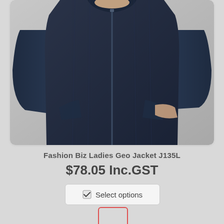[Figure (photo): Woman wearing a dark navy blue zip-up fleece/softshell jacket, shown from chest to below waist, standing against a grey background.]
Fashion Biz Ladies Geo Jacket J135L
$78.05 Inc.GST
☑ Select options